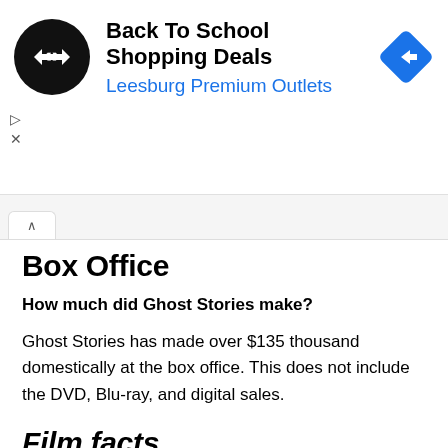[Figure (infographic): Advertisement banner for 'Back To School Shopping Deals' at Leesburg Premium Outlets, with a circular black logo with double arrow symbol on the left, text in center, and a blue diamond-shaped navigation arrow icon on the right.]
Box Office
How much did Ghost Stories make?
Ghost Stories has made over $135 thousand domestically at the box office. This does not include the DVD, Blu-ray, and digital sales.
Film facts
How long is Ghost Stories?